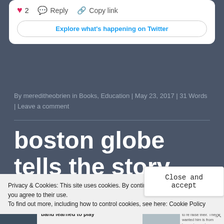[Figure (screenshot): Twitter embed card with like (heart, 2), Reply, and Copy link actions, and an 'Explore what's happening on Twitter' button]
By mereditheobrien in Books, Education | May 23, 2017 | 31 Words | Leave a comment
boston globe tells the story behind the book
Privacy & Cookies: This site uses cookies. By continuing to use this website, you agree to their use.
To find out more, including how to control cookies, see here: Cookie Policy
Close and accept
[Figure (screenshot): Bottom strip showing Boston Globe logo 'Glob' in green italic, with headline 'Middle school jazz band learned to play' and a photo]